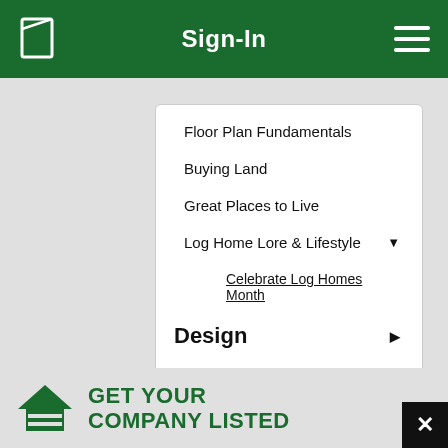Sign-In
Floor Plan Fundamentals
Buying Land
Great Places to Live
Log Home Lore & Lifestyle
Celebrate Log Homes Month
Design
Build
GET YOUR COMPANY LISTED